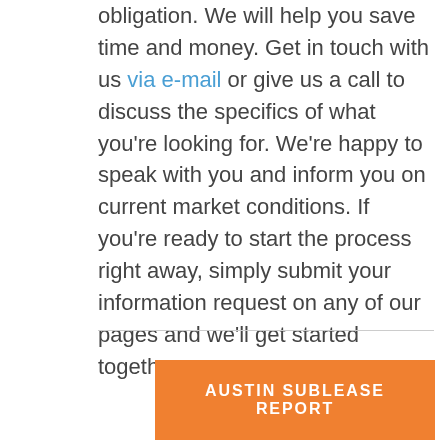obligation. We will help you save time and money. Get in touch with us via e-mail or give us a call to discuss the specifics of what you're looking for. We're happy to speak with you and inform you on current market conditions. If you're ready to start the process right away, simply submit your information request on any of our pages and we'll get started together.
AUSTIN SUBLEASE REPORT